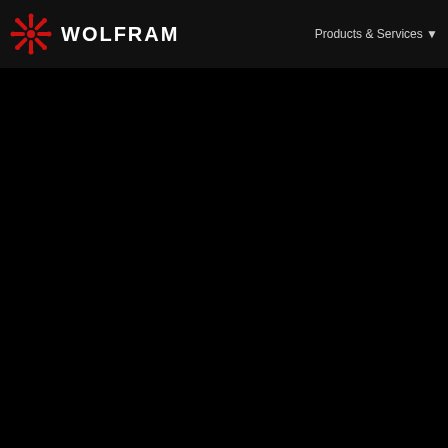WOLFRAM  |  Products & Services
demand among
> students of finance - on modelling ideas RJF got
> from my earlier post, this is not what I have been doing for years,
> actually it involves things that are still unresolved
> problems with some of the
> algorithms) and, in fact, I am p role in this
> implementation in Mathematica.
>
> We actually have quite a few peo don't use
> Mathematica or CAS systems at all students learn
> such things. The main interest i computation but in
> graphics used to illustrate vari analysis etc. Although
> one might expect that there shou available on the
> Internet (or even on Wolfram's D
> this does not seem to be actuall
>
> Of course, all of this is at thi from now I should be
> able to say something about the